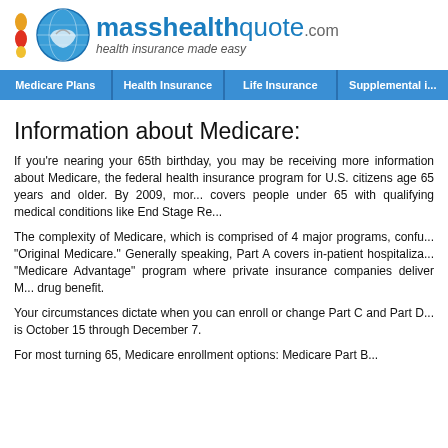[Figure (logo): masshealthquote.com logo with globe/hands icon and tagline 'health insurance made easy']
Medicare Plans | Health Insurance | Life Insurance | Supplemental i...
Information about Medicare:
If you’re nearing your 65th birthday, you may be receiving more information about Medicare, the federal health insurance program for U.S. citizens age 65 years and older. By 2009, more than 45 million Americans were on Medicare. Medicare also covers people under 65 with qualifying medical conditions like End Stage Re...
The complexity of Medicare, which is comprised of 4 major programs, confuses many people. Parts A and B are known as “Original Medicare.” Generally speaking, Part A covers in-patient hospitalization and Part B covers outpatient care. Part C is the “Medicare Advantage” program where private insurance companies deliver Medicare benefits. Part D is the prescription drug benefit.
Your circumstances dictate when you can enroll or change Part C and Part D plans. The Annual Enrollment Period (AEP) is October 15 through December 7.
For most turning 65, Medicare enrollment options: Medicare Part B...